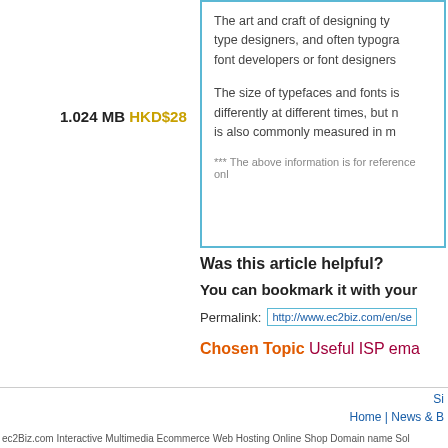1.024 MB HKD$28
The art and craft of designing typefaces is called type design. Designers of type are called type designers, and often typographers. These individuals are sometimes also called font developers or font designers.
The size of typefaces and fonts is traditionally measured in points. Point sizes have been defined differently at different times, but most modern usage employs the desktop publishing point of 1/72 in. It is also commonly measured in millimeters and inches.
*** The above information is for reference only
Was this article helpful?
You can bookmark it with your
Permalink:  http://www.ec2biz.com/en/se
Chosen Topic Useful ISP ema
Si
Home | News &
ec2Biz.com Interactive Multimedia Ecommerce Web Hosting Online Shop Domain name Sol